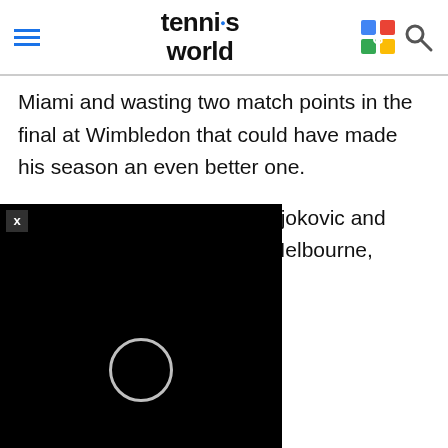tennis world
Miami and wasting two match points in the final at Wimbledon that could have made his season an even better one.
Federer lost the ground to Djokovic and Nadal after an early exit in Melbourne, losing almost [obscured by video] ing to match the [obscured] ho are by far the [obscured] oger cracked the top- [obscured] ay 2002 after winning the n[obscured] finish[obscured] n highe[obscured] first
[Figure (screenshot): Black video player overlay with circular loading indicator and close button (x). X (Twitter) logo visible at bottom right.]
[Figure (screenshot): CarMax advertisement banner: 'Get a Car Within Your Budget' with CarMax logo and red arrow icon.]